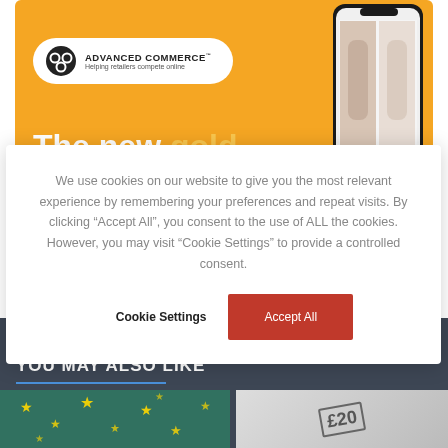[Figure (photo): Advanced Commerce advertisement banner with orange background, logo, and phone showing fashion images. Text reads: The new gold]
We use cookies on our website to give you the most relevant experience by remembering your preferences and repeat visits. By clicking “Accept All”, you consent to the use of ALL the cookies. However, you may visit “Cookie Settings” to provide a controlled consent.
Cookie Settings
Accept All
YOU MAY ALSO LIKE
[Figure (photo): EU flag with yellow stars on blue/teal background]
[Figure (photo): British pound banknote showing £20]